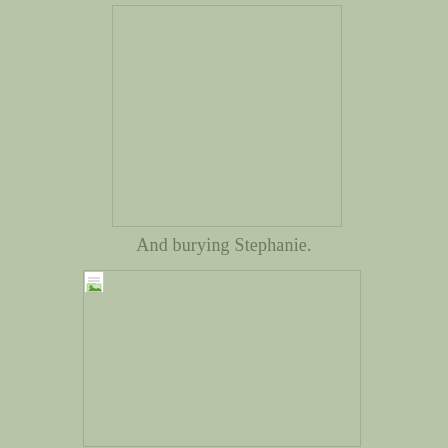[Figure (photo): Top image placeholder on sage green background]
And burying Stephanie.
[Figure (photo): Bottom image placeholder with broken image icon on sage green background]